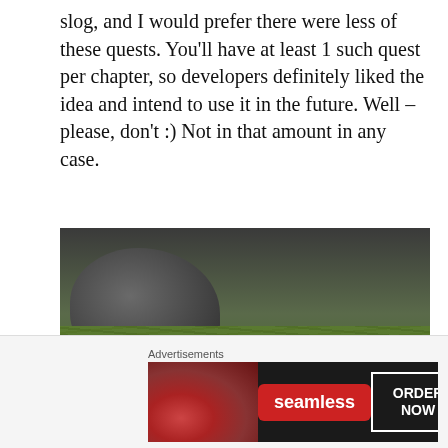slog, and I would prefer there were less of these quests. You'll have at least 1 such quest per chapter, so developers definitely liked the idea and intend to use it in the future. Well – please, don't :) Not in that amount in any case.
[Figure (screenshot): A game screenshot showing a grassy outdoor environment with a character in white/silver armor holding a weapon, standing in tall grass near rocks]
[Figure (photo): Advertisement for Seamless food delivery service showing pizza image on dark background with Seamless logo and ORDER NOW button]
Advertisements